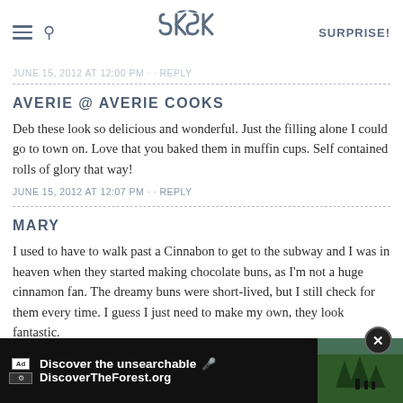SK | SURPRISE!
JUNE 15, 2012 AT 12:00 PM · · REPLY
AVERIE @ AVERIE COOKS
Deb these look so delicious and wonderful. Just the filling alone I could go to town on. Love that you baked them in muffin cups. Self contained rolls of glory that way!
JUNE 15, 2012 AT 12:07 PM · · REPLY
MARY
I used to have to walk past a Cinnabon to get to the subway and I was in heaven when they started making chocolate buns, as I'm not a huge cinnamon fan. The dreamy buns were short-lived, but I still check for them every time. I guess I just need to make my own, they look fantastic.
JUNE 15 ...
[Figure (screenshot): Ad banner overlay at bottom: 'Discover the unsearchable / DiscoverTheForest.org' with forest photo and close button]